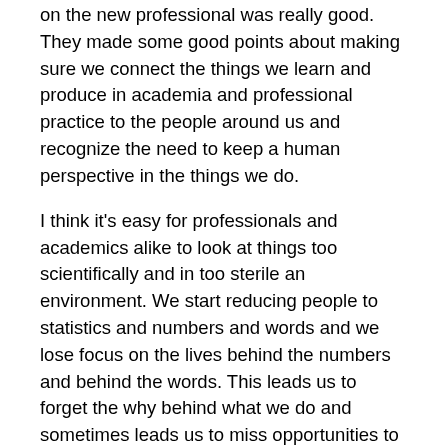on the new professional was really good.  They made some good points about making sure we connect the things we learn and produce in academia and professional practice to the people around us and recognize the need to keep a human perspective in the things we do.
I think it's easy for professionals and academics alike to look at things too scientifically and in too sterile an environment.  We start reducing people to statistics and numbers and words and we lose focus on the lives behind the numbers and behind the words.  This leads us to forget the why behind what we do and sometimes leads us to miss opportunities to do things that will actually benefit the world at large.  I liked the comment that knowing isn't enough.  If we can't have a soul behind the knowledge and actually use it to the benefit of someone else, we are really missing the boat.  As someone practicing discernment, the comment resonated with